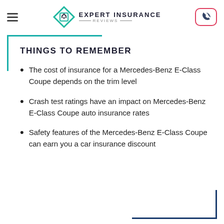EXPERT INSURANCE REVIEWS
THINGS TO REMEMBER
The cost of insurance for a Mercedes-Benz E-Class Coupe depends on the trim level
Crash test ratings have an impact on Mercedes-Benz E-Class Coupe auto insurance rates
Safety features of the Mercedes-Benz E-Class Coupe can earn you a car insurance discount